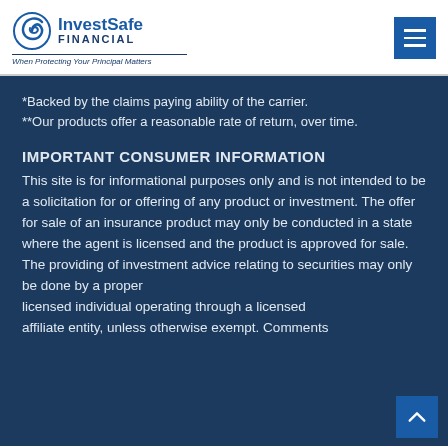InvestSafe FINANCIAL — When Protecting Your Principal Matters
*Backed by the claims paying ability of the carrier.
**Our products offer a reasonable rate of return, over time.
IMPORTANT CONSUMER INFORMATION
This site is for informational purposes only and is not intended to be a solicitation for or offering of any product or investment. The offer for sale of an insurance product may only be conducted in a state where the agent is licensed and the product is approved for sale. The providing of investment advice relating to securities may only be done by a properly licensed individual operating through a licensed affiliate entity, unless otherwise exempt. Comments